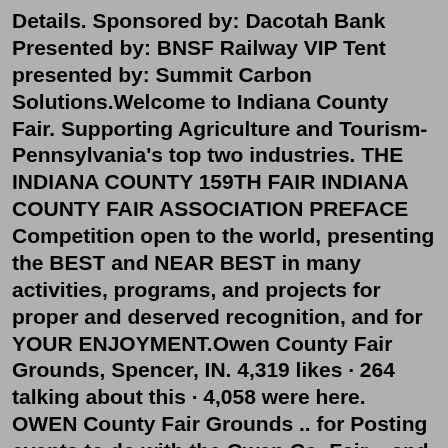Details. Sponsored by: Dacotah Bank Presented by: BNSF Railway VIP Tent presented by: Summit Carbon Solutions.Welcome to Indiana County Fair. Supporting Agriculture and Tourism-Pennsylvania's top two industries. THE INDIANA COUNTY 159TH FAIR INDIANA COUNTY FAIR ASSOCIATION PREFACE Competition open to the world, presenting the BEST and NEAR BEST in many activities, programs, and projects for proper and deserved recognition, and for YOUR ENJOYMENT.Owen County Fair Grounds, Spencer, IN. 4,319 likes · 264 talking about this · 4,058 were here. OWEN County Fair Grounds .. for Posting events to do with the Owen Co. Fair .. and Event held at the...All groups and messages ... ... See You at the BCF in 2022 | August 15th - 21st 2022 CLICK HERE FOR THE 2022 BROWN COUNTY FAIR BOOK The BCF is your ticket to 7 nights of grandstand entertainment and free live music day or night. Discover tons of exciting activities for all ages, from carnival rides to one-of-a-kind contests to the bonus barn Las gueas